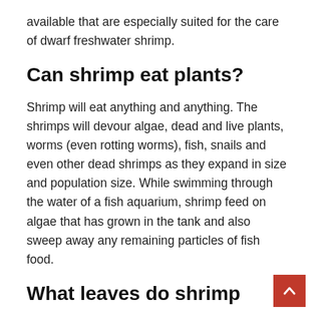available that are especially suited for the care of dwarf freshwater shrimp.
Can shrimp eat plants?
Shrimp will eat anything and anything. The shrimps will devour algae, dead and live plants, worms (even rotting worms), fish, snails and even other dead shrimps as they expand in size and population size. While swimming through the water of a fish aquarium, shrimp feed on algae that has grown in the tank and also sweep away any remaining particles of fish food.
What leaves do shrimp